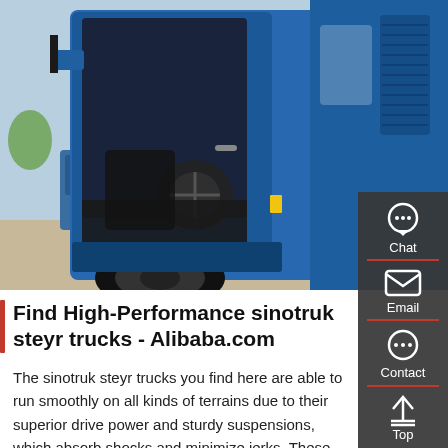[Figure (photo): Close-up photo of a blue Sinotruk Steyr truck cab with the door open, showing the interior. Additional blue trucks visible in background. Chinese text on the truck door panel showing load specifications.]
Find High-Performance sinotruk steyr trucks - Alibaba.com
The sinotruk steyr trucks you find here are able to run smoothly on all kinds of terrains due to their superior drive power and sturdy suspensions, which absorb shocks and minimize jerks. These sinotruk steyr trucks are also equipped with high-capacity engines that